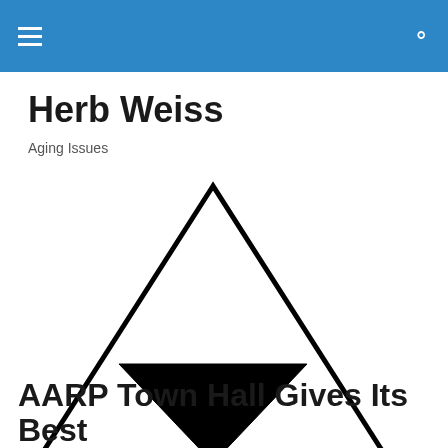Herb Weiss — navigation header with hamburger menu and search icon
Herb Weiss
Aging Issues
[Figure (illustration): Triforce-like logo: a large outlined triangle containing a smaller solid black inverted triangle in its lower half, forming a geometric symbol with two outlined sub-triangles on the sides and one solid black inverted triangle in the center-bottom area.]
AARP Town Hall Gives Its Best